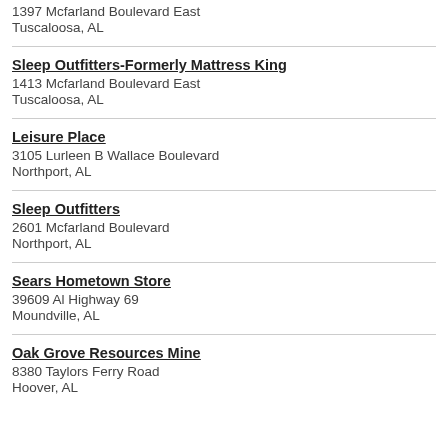1397 Mcfarland Boulevard East
Tuscaloosa, AL
Sleep Outfitters-Formerly Mattress King
1413 Mcfarland Boulevard East
Tuscaloosa, AL
Leisure Place
3105 Lurleen B Wallace Boulevard
Northport, AL
Sleep Outfitters
2601 Mcfarland Boulevard
Northport, AL
Sears Hometown Store
39609 Al Highway 69
Moundville, AL
Oak Grove Resources Mine
8380 Taylors Ferry Road
Hoover, AL